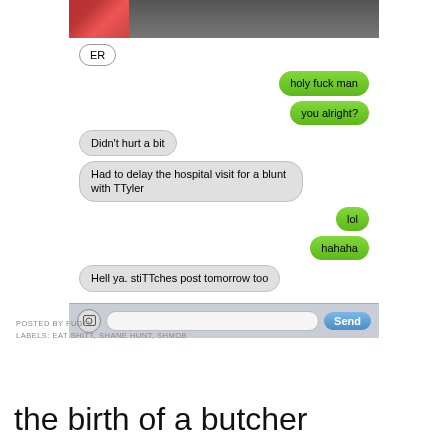[Figure (screenshot): iOS text message conversation screenshot. Left gray bubble: 'ER'. Right green bubbles: 'holy fuck man', 'you alright?'. Left gray bubbles: 'Didn't hurt a bit', 'Had to delay the hospital visit for a blunt with TTyler'. Right green bubbles: 'lol', 'hahaha'. Left gray bubble: 'Hell ya. stiTTches post tomorrow too'. Input bar at bottom with camera icon, text field, and Send button.]
POSTED BY FUGLY
LABELS: EAT SHITT, SHANE HUNT, SHMOB
the birth of a butcher